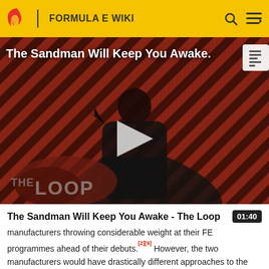FORMULA E WIKI
[Figure (screenshot): Video thumbnail for 'The Sandman Will Keep You Awake - The Loop' showing a figure in black against a red diagonal-stripe background with THE LOOP text overlay and a play button. Duration: 01:40.]
The Sandman Will Keep You Awake - The Loop  01:40
manufacturers throwing considerable weight at their FE programmes ahead of their debuts.[2][9] However, the two manufacturers would have drastically different approaches to the series, with Mercedes having used